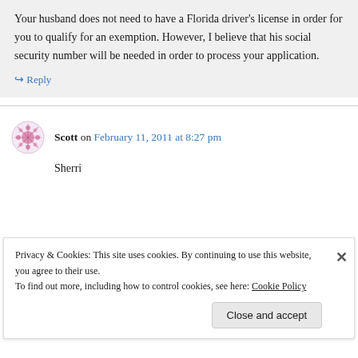Your husband does not need to have a Florida driver's license in order for you to qualify for an exemption. However, I believe that his social security number will be needed in order to process your application.
↪ Reply
Scott on February 11, 2011 at 8:27 pm
Sherri
Privacy & Cookies: This site uses cookies. By continuing to use this website, you agree to their use.
To find out more, including how to control cookies, see here: Cookie Policy
Close and accept